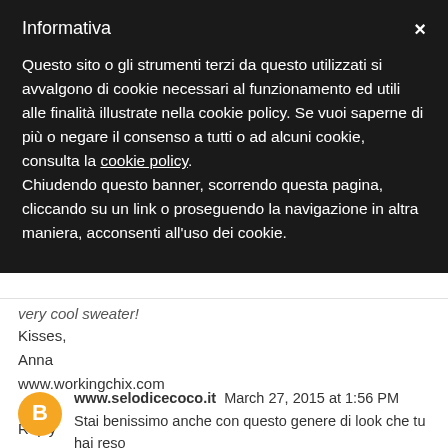Informativa
Questo sito o gli strumenti terzi da questo utilizzati si avvalgono di cookie necessari al funzionamento ed utili alle finalità illustrate nella cookie policy. Se vuoi saperne di più o negare il consenso a tutti o ad alcuni cookie, consulta la cookie policy.
Chiudendo questo banner, scorrendo questa pagina, cliccando su un link o proseguendo la navigazione in altra maniera, acconsenti all'uso dei cookie.
very cool sweater!
Kisses,
Anna
www.workingchix.com
Reply
www.selodicecoco.it  March 27, 2015 at 1:56 PM
Stai benissimo anche con questo genere di look che tu hai reso più chic, e il maglione add Burj Elisabetta...